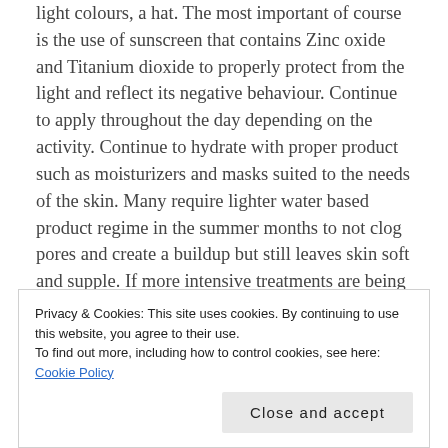light colours, a hat. The most important of course is the use of sunscreen that contains Zinc oxide and Titanium dioxide to properly protect from the light and reflect its negative behaviour. Continue to apply throughout the day depending on the activity. Continue to hydrate with proper product such as moisturizers and masks suited to the needs of the skin. Many require lighter water based product regime in the summer months to not clog pores and create a buildup but still leaves skin soft and supple. If more intensive treatments are being done during the summer months, follow the instructions of the service provider and be an honest client about medications and
Privacy & Cookies: This site uses cookies. By continuing to use this website, you agree to their use.
To find out more, including how to control cookies, see here: Cookie Policy